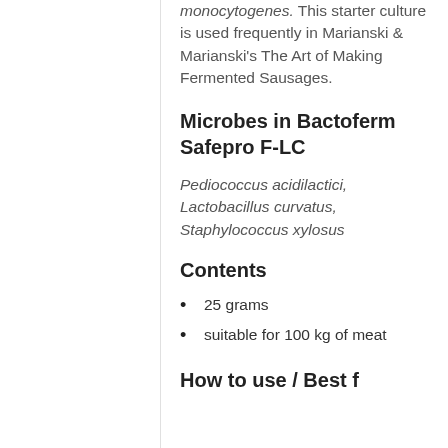monocytogenes. This starter culture is used frequently in Marianski & Marianski's The Art of Making Fermented Sausages.
Microbes in Bactoferm Safepro F-LC
Pediococcus acidilactici, Lactobacillus curvatus, Staphylococcus xylosus
Contents
25 grams
suitable for 100 kg of meat
How to use / Best f...